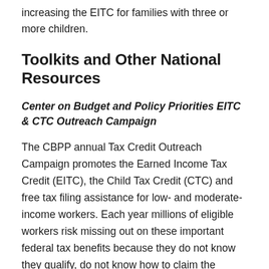increasing the EITC for families with three or more children.
Toolkits and Other National Resources
Center on Budget and Policy Priorities EITC & CTC Outreach Campaign
The CBPP annual Tax Credit Outreach Campaign promotes the Earned Income Tax Credit (EITC), the Child Tax Credit (CTC) and free tax filing assistance for low- and moderate-income workers. Each year millions of eligible workers risk missing out on these important federal tax benefits because they do not know they qualify, do not know how to claim the credits or do not know where to find free tax filing assistance. Community outreach efforts can ensure